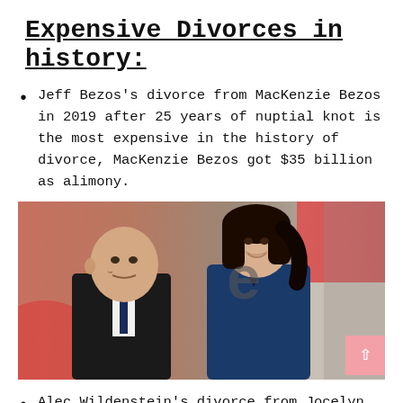Expensive Divorces in history:
Jeff Bezos's divorce from MacKenzie Bezos in 2019 after 25 years of nuptial knot is the most expensive in the history of divorce, MacKenzie Bezos got $35 billion as alimony.
[Figure (photo): Photo of Jeff Bezos and MacKenzie Bezos standing together at an event, Jeff in a dark suit with tie, MacKenzie in a dark blue dress, smiling.]
Alec Wildenstein's divorce from Jocelyn